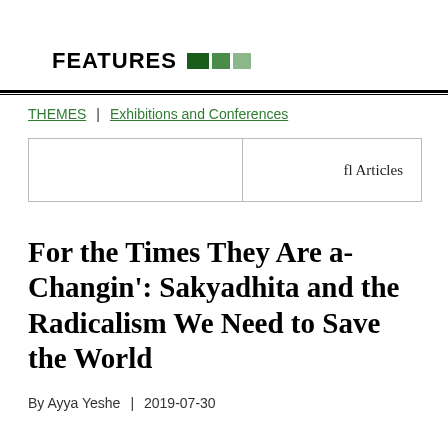FEATURES
THEMES | Exhibitions and Conferences
|  | fl Articles |
| --- | --- |
|  |
For the Times They Are a-Changin': Sakyadhita and the Radicalism We Need to Save the World
By Ayya Yeshe | 2019-07-30